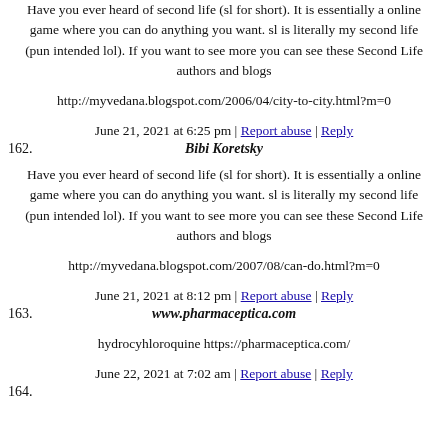Have you ever heard of second life (sl for short). It is essentially a online game where you can do anything you want. sl is literally my second life (pun intended lol). If you want to see more you can see these Second Life authors and blogs
http://myvedana.blogspot.com/2006/04/city-to-city.html?m=0
June 21, 2021 at 6:25 pm | Report abuse | Reply
162. Bibi Koretsky
Have you ever heard of second life (sl for short). It is essentially a online game where you can do anything you want. sl is literally my second life (pun intended lol). If you want to see more you can see these Second Life authors and blogs
http://myvedana.blogspot.com/2007/08/can-do.html?m=0
June 21, 2021 at 8:12 pm | Report abuse | Reply
163. www.pharmaceptica.com
hydrocyhloroquine https://pharmaceptica.com/
June 22, 2021 at 7:02 am | Report abuse | Reply
164.